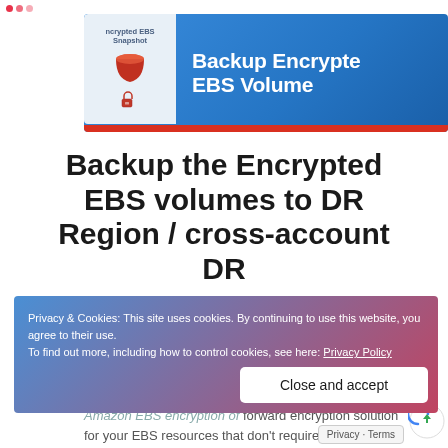[Figure (screenshot): Banner image showing 'Backup Encrypted EBS Volumes' with a blue gradient background, an icon of a storage bucket and key labeled 'Encrypted EBS Snapshot', and bold white title text.]
Backup the Encrypted EBS volumes to DR Region / cross-account DR
Privacy & Cookies: This site uses cookies. By continuing to use this website, you agree to their use. To find out more, including how to control cookies, see here: Privacy Policy
Close and accept
Vignesh A Sathiyanantham • Jan 1, 2020
Amazon EBS encryption of forward encryption solution for your EBS resources that don't require you to build
Privacy · Terms